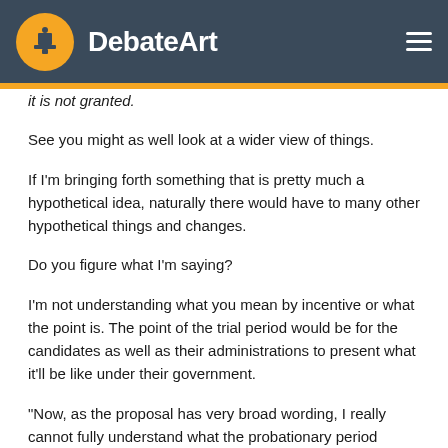DebateArt
it is not granted.
See you might as well look at a wider view of things.
If I'm bringing forth something that is pretty much a hypothetical idea, naturally there would have to many other hypothetical things and changes.
Do you figure what I'm saying?
I'm not understanding what you mean by incentive or what the point is. The point of the trial period would be for the candidates as well as their administrations to present what it'll be like under their government.
"Now, as the proposal has very broad wording, I really cannot fully understand what the probationary period would actually be like, but I could see that perhaps what you are arguing for is a probationary period only for the initial winner of the election"
Yes let me help you here. Try to imagine one of the candidates going into office by the start of a year. Everything as it is now